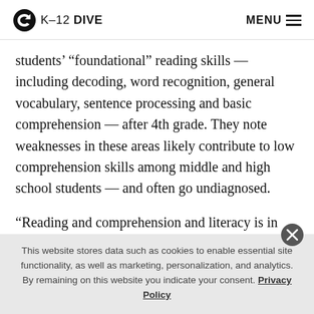K-12 DIVE  MENU
students' “foundational” reading skills — including decoding, word recognition, general vocabulary, sentence processing and basic comprehension — after 4th grade. They note weaknesses in these areas likely contribute to low comprehension skills among middle and high school students — and often go undiagnosed.
“Reading and comprehension and literacy is in everything,” says Alycia Worthy, a career and technical
This website stores data such as cookies to enable essential site functionality, as well as marketing, personalization, and analytics. By remaining on this website you indicate your consent. Privacy Policy